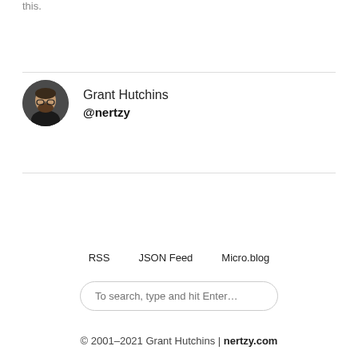this.
[Figure (photo): Circular avatar photo of Grant Hutchins, a man with glasses and a beard wearing a dark jacket]
Grant Hutchins
@nertzy
RSS   JSON Feed   Micro.blog
To search, type and hit Enter…
© 2001–2021 Grant Hutchins | nertzy.com